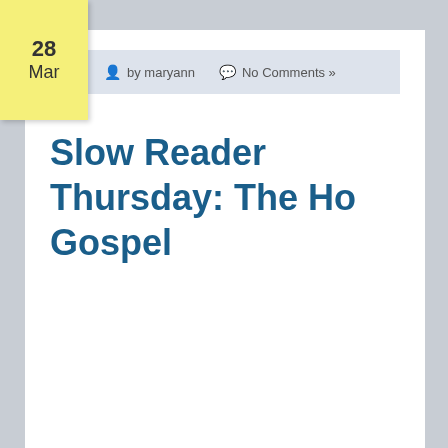28 Mar
by maryann   No Comments »
Slow Reader Thursday: The Ho Gospel